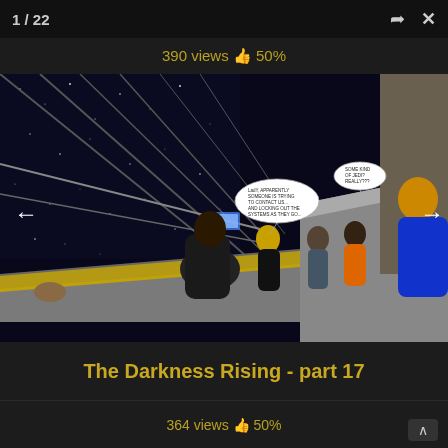1 / 22
390 views 👍 50%
[Figure (screenshot): 3D rendered comic scene: characters standing on a space station corridor with large windows showing a starfield. Characters include figures in black, orange, and colorful costumes. Two speech bubbles visible. Navigation arrows on left and right.]
The Darkness Rising - part 17
364 views 👍 50%